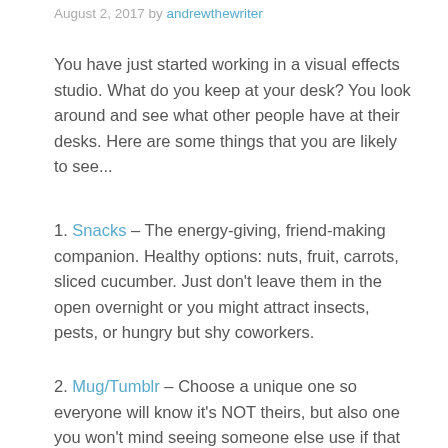August 2, 2017 by andrewthewriter
You have just started working in a visual effects studio. What do you keep at your desk? You look around and see what other people have at their desks. Here are some things that you are likely to see...
1. Snacks – The energy-giving, friend-making companion. Healthy options: nuts, fruit, carrots, sliced cucumber. Just don't leave them in the open overnight or you might attract insects, pests, or hungry but shy coworkers.
2. Mug/Tumblr – Choose a unique one so everyone will know it's NOT theirs, but also one you won't mind seeing someone else use if that happens. I personally recommend Swell bottles, as they keep your beverages hot or cold for a long time. Stay